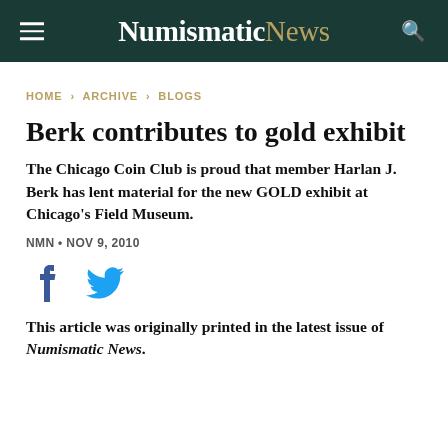NumismaticNews
HOME › ARCHIVE › BLOGS
Berk contributes to gold exhibit
The Chicago Coin Club is proud that member Harlan J. Berk has lent material for the new GOLD exhibit at Chicago's Field Museum.
NMN • NOV 9, 2010
[Figure (other): Facebook and Twitter social sharing icons]
This article was originally printed in the latest issue of Numismatic News.